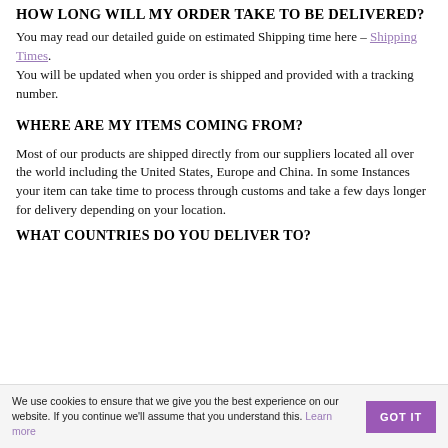HOW LONG WILL MY ORDER TAKE TO BE DELIVERED?
You may read our detailed guide on estimated Shipping time here – Shipping Times.
You will be updated when you order is shipped and provided with a tracking number.
WHERE ARE MY ITEMS COMING FROM?
Most of our products are shipped directly from our suppliers located all over the world including the United States, Europe and China. In some Instances your item can take time to process through customs and take a few days longer for delivery depending on your location.
WHAT COUNTRIES DO YOU DELIVER TO?
We use cookies to ensure that we give you the best experience on our website. If you continue we'll assume that you understand this. Learn more